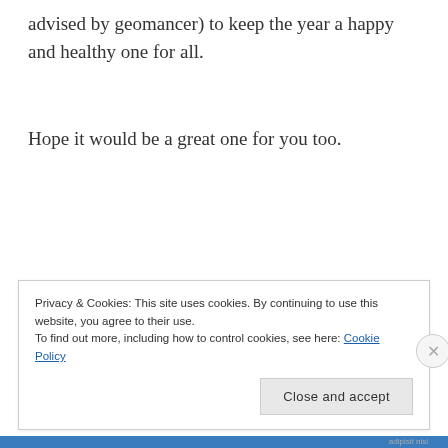advised by geomancer) to keep the year a happy and healthy one for all.
Hope it would be a great one for you too.
Privacy & Cookies: This site uses cookies. By continuing to use this website, you agree to their use.
To find out more, including how to control cookies, see here: Cookie Policy
Close and accept